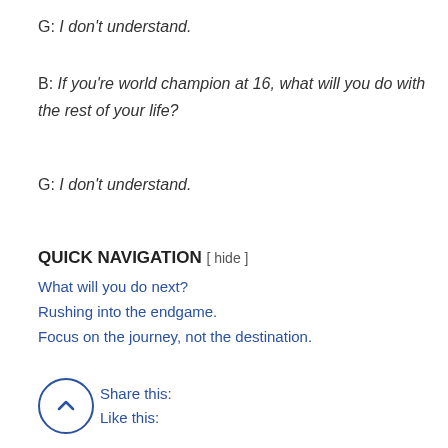G: I don't understand.
B: If you're world champion at 16, what will you do with the rest of your life?
G: I don't understand.
QUICK NAVIGATION  [ hide ]
What will you do next?
Rushing into the endgame.
Focus on the journey, not the destination.
Share this:
Like this: